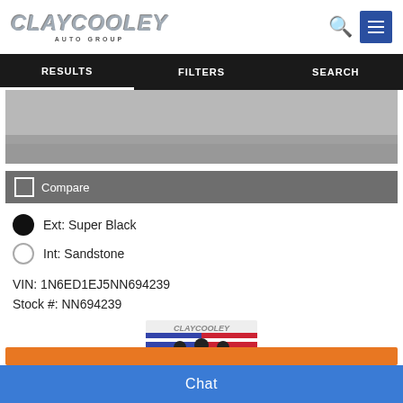[Figure (logo): Clay Cooley Auto Group logo with chrome italic text]
[Figure (screenshot): Navigation bar with RESULTS, FILTERS, SEARCH tabs on black background]
[Figure (photo): Partial vehicle image showing pavement/ground]
Compare
Ext: Super Black
Int: Sandstone
VIN: 1N6ED1EJ5NN694239
Stock #: NN694239
[Figure (logo): Clay Cooley Family Guarantee badge with three men in suits and American/Texas flags]
Chat